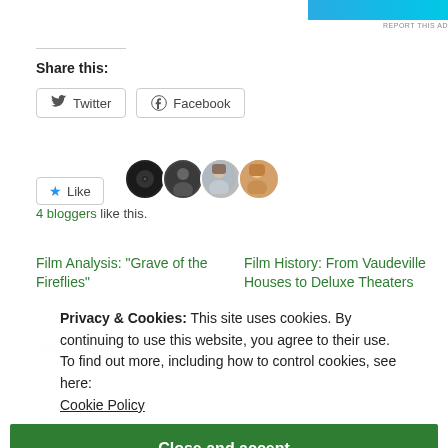[Figure (other): Blue/teal advertisement banner in top right corner with 'REPORT THIS AD' text below]
Share this:
Twitter  Facebook (social share buttons)
Like  [4 avatars]  4 bloggers like this.
Film Analysis: "Grave of the Fireflies"
Film History: From Vaudeville Houses to Deluxe Theaters
Privacy & Cookies: This site uses cookies. By continuing to use this website, you agree to their use.
To find out more, including how to control cookies, see here:
Cookie Policy
Close and accept